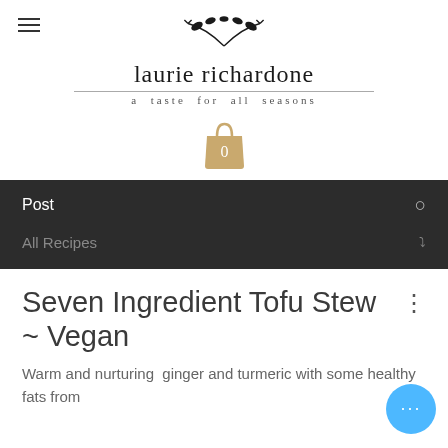laurie richardone — a taste for all seasons
[Figure (logo): Shopping bag icon with '0' label in tan/khaki color]
Post
All Recipes
Seven Ingredient Tofu Stew ~ Vegan
Warm and nurturing  ginger and turmeric with some healthy fats from